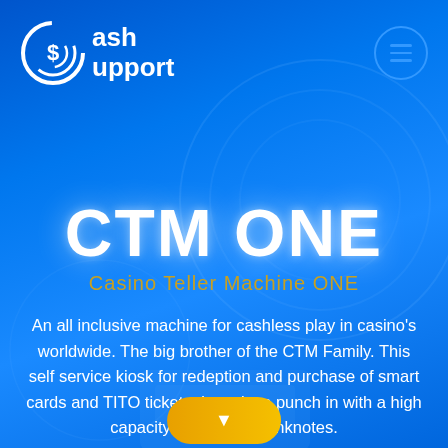[Figure (logo): Cash Support logo: circular icon with dollar sign and the text 'Cash Support' in white on blue background]
CTM ONE
Casino Teller Machine ONE
An all inclusive machine for cashless play in casino's worldwide. The big brother of the CTM Family. This self service kiosk for redeption and purchase of smart cards and TITO tickets. It packs a punch in with a high capacity of 4x 3000 banknotes.